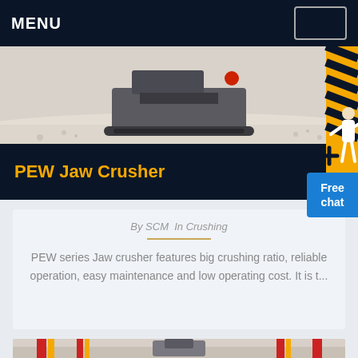MENU
[Figure (photo): PEW jaw crusher machine on gravel with hazard stripes]
PEW Jaw Crusher
[Figure (illustration): Free chat button with customer service person icon]
By SCM   In Crushing
PEW series Jaw crusher features big crushing ratio, reliable operation, easy maintenance and low operating cost. It is t...
[Figure (photo): Industrial machinery in factory hall with red and yellow decorative banners]